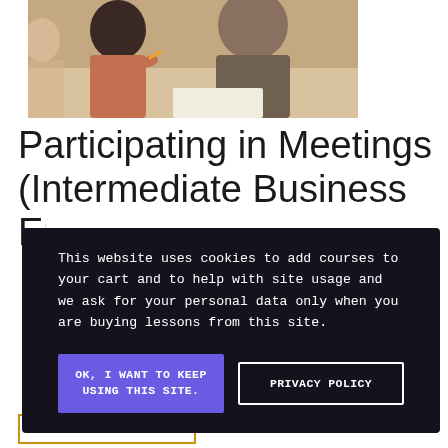[Figure (photo): Two people sitting at a table in a meeting or classroom setting; a woman is gesturing with a pen and a man in a grey t-shirt is writing.]
Participating in Meetings (Intermediate Business English...)
This website uses cookies to add courses to your cart and to help with site usage and we ask for your personal data only when you are buying lessons from this site.
OK, I WANT TO KEEP USING THIS SITE.
PRIVACY POLICY